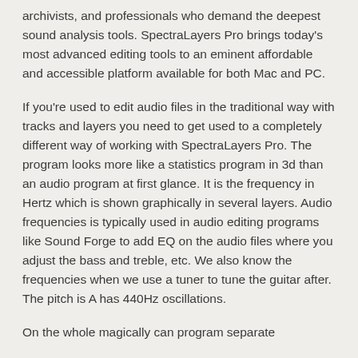archivists, and professionals who demand the deepest sound analysis tools. SpectraLayers Pro brings today's most advanced editing tools to an eminent affordable and accessible platform available for both Mac and PC.
If you're used to edit audio files in the traditional way with tracks and layers you need to get used to a completely different way of working with SpectraLayers Pro. The program looks more like a statistics program in 3d than an audio program at first glance. It is the frequency in Hertz which is shown graphically in several layers. Audio frequencies is typically used in audio editing programs like Sound Forge to add EQ on the audio files where you adjust the bass and treble, etc. We also know the frequencies when we use a tuner to tune the guitar after. The pitch is A has 440Hz oscillations.
On the whole magically can program separate